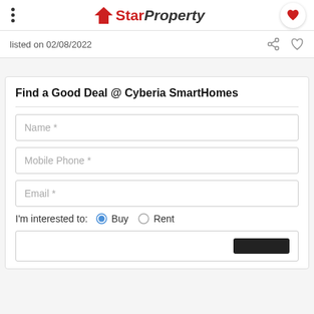StarProperty
listed on 02/08/2022
Find a Good Deal @ Cyberia SmartHomes
Name *
Mobile Phone *
Email *
I'm interested to: Buy (selected) Rent